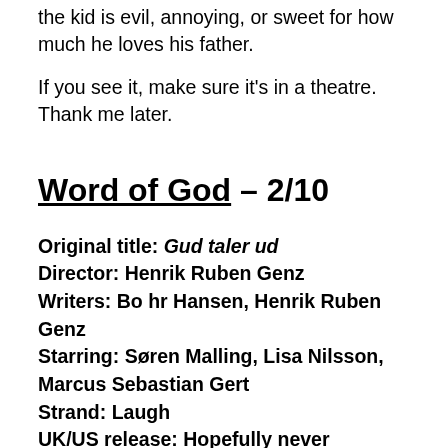the kid is evil, annoying, or sweet for how much he loves his father.
If you see it, make sure it's in a theatre. Thank me later.
Word of God – 2/10
Original title: Gud taler ud
Director: Henrik Ruben Genz
Writers: Bo hr Hansen, Henrik Ruben Genz
Starring: Søren Malling, Lisa Nilsson, Marcus Sebastian Gert
Strand: Laugh
UK/US release: Hopefully never